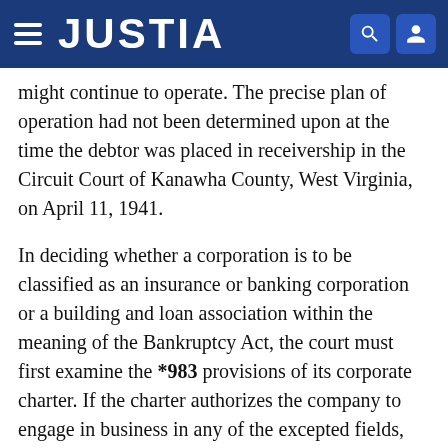JUSTIA
might continue to operate. The precise plan of operation had not been determined upon at the time the debtor was placed in receivership in the Circuit Court of Kanawha County, West Virginia, on April 11, 1941.
In deciding whether a corporation is to be classified as an insurance or banking corporation or a building and loan association within the meaning of the Bankruptcy Act, the court must first examine the *983 provisions of its corporate charter. If the charter authorizes the company to engage in business in any of the excepted fields, and if the company in fact engages principally in a business which lies within that field, such a corporation must be treated as one excluded from the benefits of Chapter X. However, if its charter authorizes the corporation to engage in activities outside the excepted